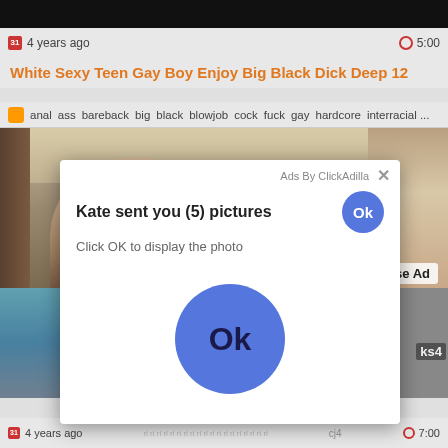[Figure (screenshot): Screenshot of adult video website with popup ad overlay. Top black bar, metadata bar showing '4 years ago' and '5:00', orange title text, tags bar, video thumbnail with person visible, '[x] Close Ad' button, and white popup ad from ClickAdilla saying 'Kate sent you (5) pictures / Click OK to display the photo' with blue Ok buttons. Bottom bar shows '4 years ago' and '7:00'.]